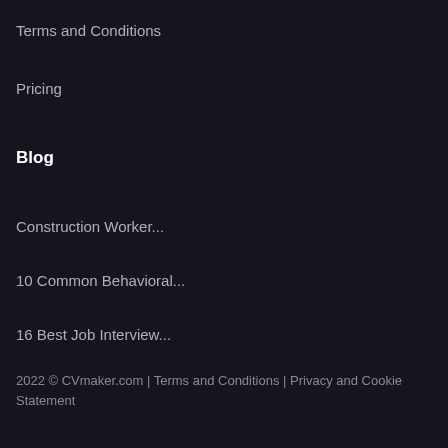Terms and Conditions
Pricing
Blog
Construction Worker...
10 Common Behavioral...
16 Best Job Interview...
2022 © CVmaker.com | Terms and Conditions | Privacy and Cookie Statement